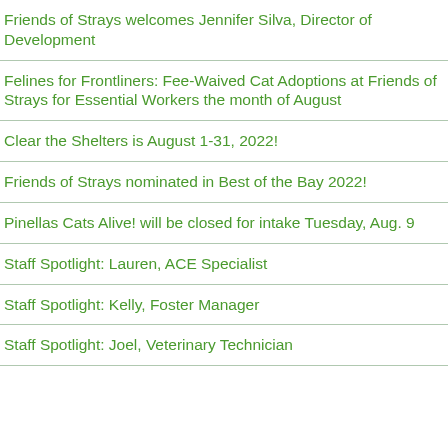Friends of Strays welcomes Jennifer Silva, Director of Development
Felines for Frontliners: Fee-Waived Cat Adoptions at Friends of Strays for Essential Workers the month of August
Clear the Shelters is August 1-31, 2022!
Friends of Strays nominated in Best of the Bay 2022!
Pinellas Cats Alive! will be closed for intake Tuesday, Aug. 9
Staff Spotlight: Lauren, ACE Specialist
Staff Spotlight: Kelly, Foster Manager
Staff Spotlight: Joel, Veterinary Technician